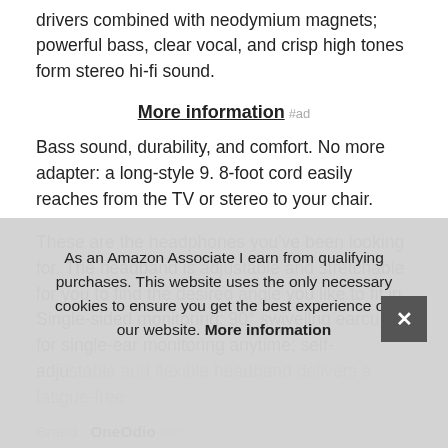drivers combined with neodymium magnets; powerful bass, clear vocal, and crisp high tones form stereo hi-fi sound.
More information #ad
Bass sound, durability, and comfort. No more adapter: a long-style 9. 8-foot cord easily reaches from the TV or stereo to your chair.
These are the headphones you’ve been looking for. The headband is adjustable and stretchable for you to find the desired angle you like to fit in. Single-sided monitoring: 90° swiveling earcups for single-ear monitoring anytime; self-adjustable and flexible headband delivers a fatigue-free listening experience and makes it comfortable to wear for more...
As an Amazon Associate I earn from qualifying purchases. This website uses the only necessary cookies to ensure you get the best experience on our website. More information
Brand OneOdio #ad